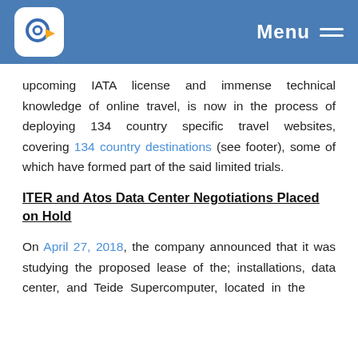Menu
upcoming IATA license and immense technical knowledge of online travel, is now in the process of deploying 134 country specific travel websites, covering 134 country destinations (see footer), some of which have formed part of the said limited trials.
ITER and Atos Data Center Negotiations Placed on Hold
On April 27, 2018, the company announced that it was studying the proposed lease of the; installations, data center, and Teide Supercomputer, located in the